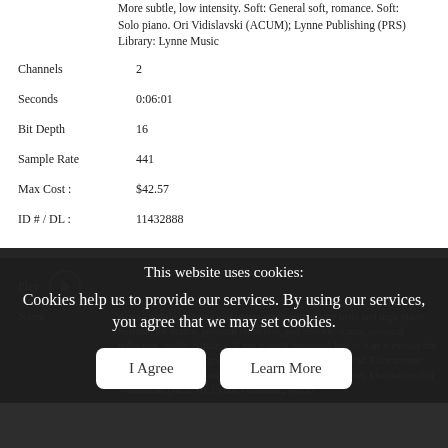More subtle, low intensity. Soft: General soft, romance. Soft: Solo piano. Ori Vidislavski (ACUM); Lynne Publishing (PRS) Library: Lynne Music
Channels    2
Seconds    0:06:01
Bit Depth    16
Sample Rate    441
Max Cost :    $42.57
ID # / DL :    11432888
Add to Cart
Play
Name    Anna - Subtle, delicate and sparse waltz with glassy bells and high piano. Suitable for drama, personal reflection, and historic drama, personal reflection, public holidays. It has a slight historical feel to it as it evokes the steps leading to days gone by. Pretty and pastoral. 52 BPM. Film scores: More subtle, Soft: General soft, romance. Soft: Relaxation, Meditation. Ori Vidislavski (ACUM); Lynne Publishing (PRS)
This website uses cookies:
Cookies help us to provide our services. By using our services, you agree that we may set cookies.
I Agree
Learn More